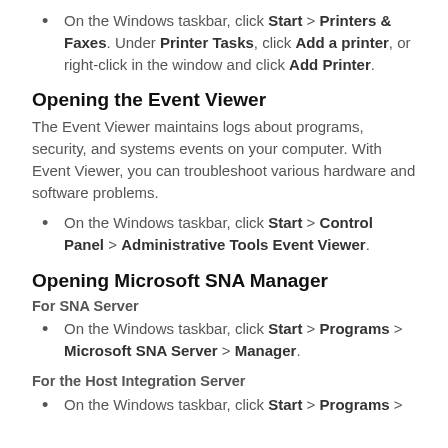On the Windows taskbar, click Start > Printers & Faxes. Under Printer Tasks, click Add a printer, or right-click in the window and click Add Printer.
Opening the Event Viewer
The Event Viewer maintains logs about programs, security, and systems events on your computer. With Event Viewer, you can troubleshoot various hardware and software problems.
On the Windows taskbar, click Start > Control Panel > Administrative Tools Event Viewer.
Opening Microsoft SNA Manager
For SNA Server
On the Windows taskbar, click Start > Programs > Microsoft SNA Server > Manager.
For the Host Integration Server
On the Windows taskbar, click Start > Programs >